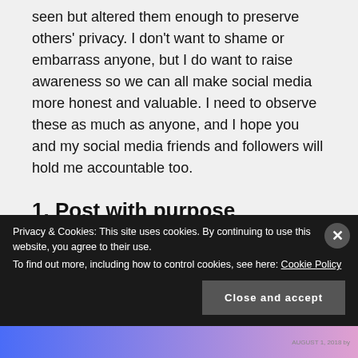seen but altered them enough to preserve others' privacy. I don't want to shame or embarrass anyone, but I do want to raise awareness so we can all make social media more honest and valuable. I need to observe these as much as anyone, and I hope you and my social media friends and followers will hold me accountable too.
1. Post with purpose
Have a purpose when you share. Is it to inform,
Privacy & Cookies: This site uses cookies. By continuing to use this website, you agree to their use.
To find out more, including how to control cookies, see here: Cookie Policy
Close and accept